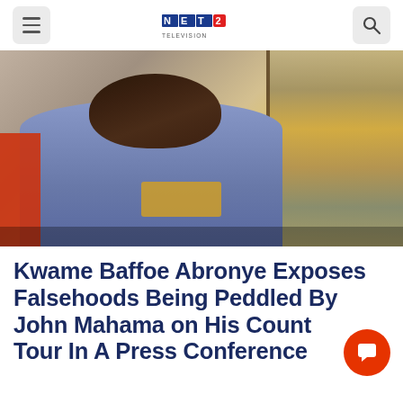NET 2 TELEVISION
[Figure (photo): Portrait photo of a man in a blue checkered shirt, seated, looking over his shoulder, with a busy street scene visible through a window behind him. Orange element visible on the left side.]
Kwame Baffoe Abronye Exposes Falsehoods Being Peddled By John Mahama on His Country Tour In A Press Conference